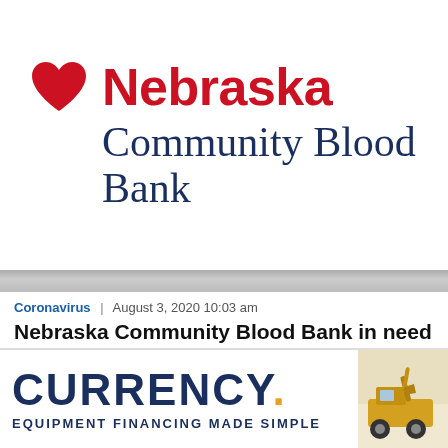[Figure (logo): Nebraska Community Blood Bank logo with red heart icon, 'Nebraska' in bold red, 'Community Blood Bank' in dark navy serif font]
Coronavirus | August 3, 2020 10:03 am
Nebraska Community Blood Bank in need of donors
[Figure (logo): CURRENCY. EQUIPMENT FINANCING MADE SIMPLE advertisement banner with yellow construction equipment image on right]